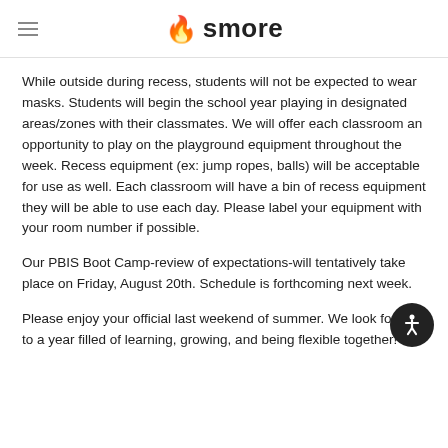smore
While outside during recess, students will not be expected to wear masks. Students will begin the school year playing in designated areas/zones with their classmates. We will offer each classroom an opportunity to play on the playground equipment throughout the week. Recess equipment (ex: jump ropes, balls) will be acceptable for use as well. Each classroom will have a bin of recess equipment they will be able to use each day. Please label your equipment with your room number if possible.
Our PBIS Boot Camp-review of expectations-will tentatively take place on Friday, August 20th. Schedule is forthcoming next week.
Please enjoy your official last weekend of summer. We look forward to a year filled of learning, growing, and being flexible together!